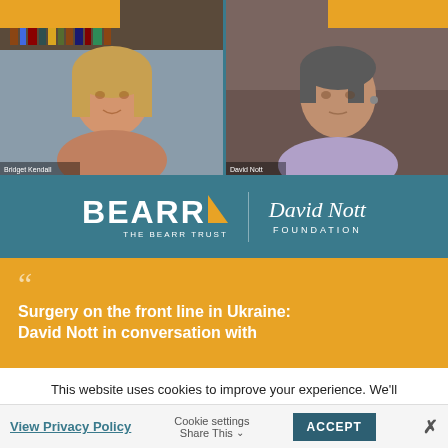[Figure (screenshot): Video call screenshot showing two participants: a woman on the left and a man on the right, with BEARR Trust and David Nott Foundation logos displayed on a teal background below]
Surgery on the front line in Ukraine: David Nott in conversation with
This website uses cookies to improve your experience. We'll assume you're ok with this, but you can opt-out if you wish.
View Privacy Policy   Cookie settings   ACCEPT   ✕   Share This